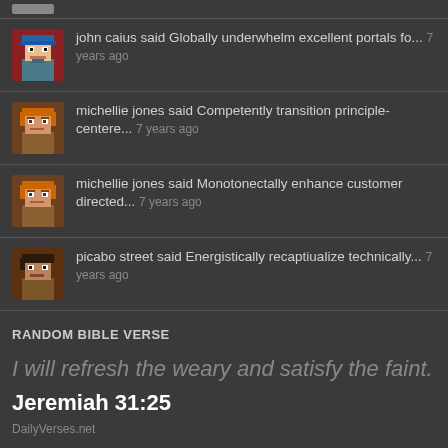john caius said Globally underwhelm excellent portals fo... 7 years ago
michellie jones said Competently transition principle-centere... 7 years ago
michellie jones said Monotonectally enhance customer directed... 7 years ago
picabo street said Energistically recaptiualize technically... 7 years ago
RANDOM BIBLE VERSE
I will refresh the weary and satisfy the faint.
Jeremiah 31:25
DailyVerses.net